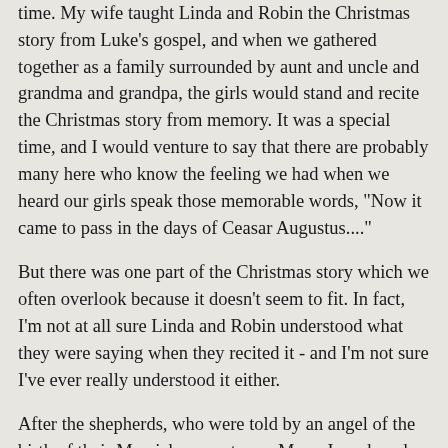time. My wife taught Linda and Robin the Christmas story from Luke's gospel, and when we gathered together as a family surrounded by aunt and uncle and grandma and grandpa, the girls would stand and recite the Christmas story from memory. It was a special time, and I would venture to say that there are probably many here who know the feeling we had when we heard our girls speak those memorable words, "Now it came to pass in the days of Ceasar Augustus...."
But there was one part of the Christmas story which we often overlook because it doesn't seem to fit. In fact, I'm not at all sure Linda and Robin understood what they were saying when they recited it - and I'm not sure I've ever really understood it either.
After the shepherds, who were told by an angel of the birth of their Messiah, came to see Mary, Joseph and the Christ child, they left to tell others about the miraculous event. And then Luke's gospel records a confusing, but telling moment in that stable:
"But Mary treasured up all these things, pondering them in her heart."
There it is again - that word: pondering.
The same Mary who was troubled when the angel first came to her was now in a contemplative and pensive mood. She was not sitting